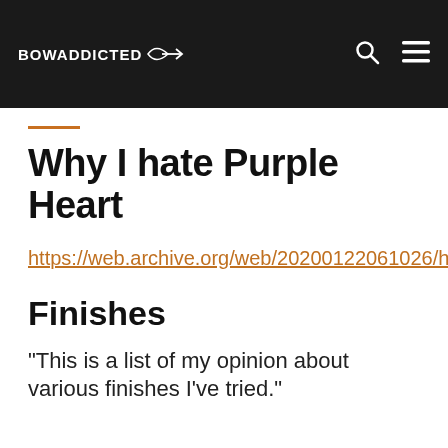BowAddicted
Why I hate Purple Heart
https://web.archive.org/web/20200122061026/http://poorfolkbows.com/purpleheart.htm
Finishes
“This is a list of my opinion about various finishes I’ve tried.”